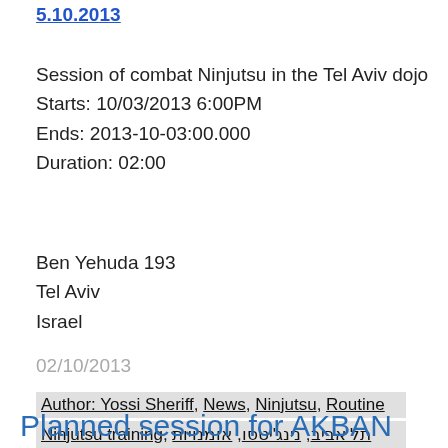5.10.2013
Session of combat Ninjutsu in the Tel Aviv dojo
Starts: 10/03/2013 6:00PM
Ends: 2013-10-03:00.000
Duration: 02:00
Ben Yehuda 193
Tel Aviv
Israel
02/10/2013
Author: Yossi Sheriff, News, Ninjutsu, Routine
Ninjutsu training, תל אביב, נינג'יטסו, אומנויות לחימה
Planned session for AKBAN Tel